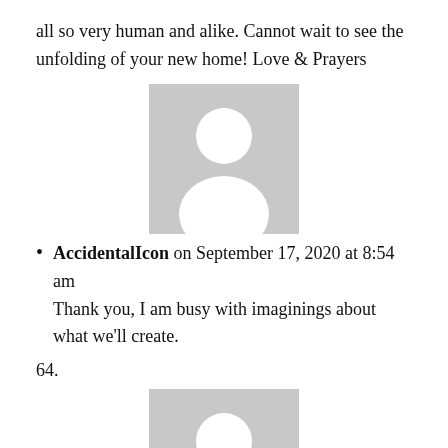all so very human and alike. Cannot wait to see the unfolding of your new home! Love & Prayers
[Figure (illustration): Generic avatar placeholder image - grey rectangle with white silhouette of a person]
AccidentalIcon on September 17, 2020 at 8:54 am
Thank you, I am busy with imaginings about what we’ll create.
64.
[Figure (illustration): Generic avatar placeholder image - grey rectangle with white silhouette of a person]
Dianne H Roth on September 16, 2020 at 6:10 pm
Your story is very inspiring and a life-lesson for